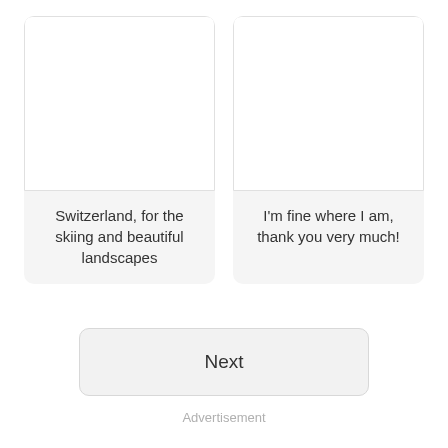[Figure (other): Two choice cards side by side. Left card has a white image area and text 'Switzerland, for the skiing and beautiful landscapes'. Right card has a white image area and text 'I'm fine where I am, thank you very much!']
Switzerland, for the skiing and beautiful landscapes
I'm fine where I am, thank you very much!
Next
Advertisement